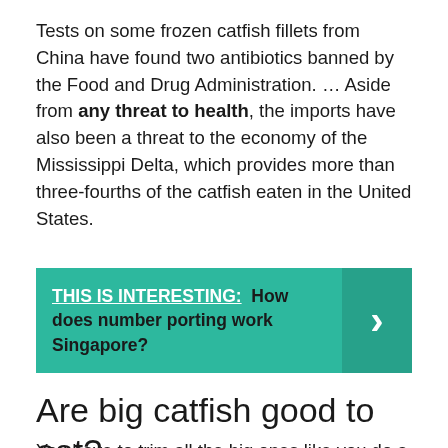Tests on some frozen catfish fillets from China have found two antibiotics banned by the Food and Drug Administration. … Aside from any threat to health, the imports have also been a threat to the economy of the Mississippi Delta, which provides more than three-fourths of the catfish eaten in the United States.
[Figure (infographic): Teal banner with text 'THIS IS INTERESTING: How does number porting work Singapore?' and a right-chevron arrow on the right side.]
Are big catfish good to eat?
You have to trim all the big ones like you do a big stripa or blue. Cut all the grey or dark